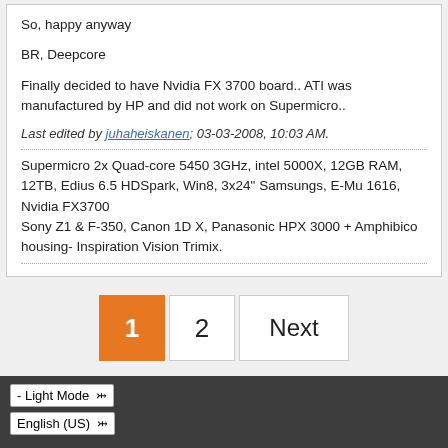So, happy anyway
BR, Deepcore
Finally decided to have Nvidia FX 3700 board.. ATI was manufactured by HP and did not work on Supermicro..
Last edited by juhaheiskanen; 03-03-2008, 10:03 AM.
Supermicro 2x Quad-core 5450 3GHz, intel 5000X, 12GB RAM, 12TB, Edius 6.5 HDSpark, Win8, 3x24" Samsungs, E-Mu 1616, Nvidia FX3700
Sony Z1 & F-350, Canon 1D X, Panasonic HPX 3000 + Amphibico housing- Inspiration Vision Trimix.
1  2  Next
- Light Mode  English (US)